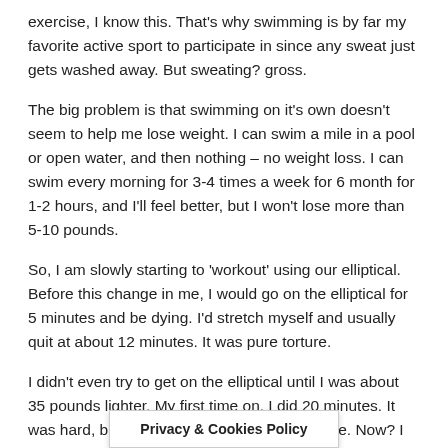exercise, I know this. That's why swimming is by far my favorite active sport to participate in since any sweat just gets washed away. But sweating? gross.
The big problem is that swimming on it's own doesn't seem to help me lose weight. I can swim a mile in a pool or open water, and then nothing – no weight loss. I can swim every morning for 3-4 times a week for 6 month for 1-2 hours, and I'll feel better, but I won't lose more than 5-10 pounds.
So, I am slowly starting to 'workout' using our elliptical. Before this change in me, I would go on the elliptical for 5 minutes and be dying. I'd stretch myself and usually quit at about 12 minutes. It was pure torture.
I didn't even try to get on the elliptical until I was about 35 pounds lighter. My first time on, I did 20 minutes. It was hard, but no way did I feel like I did before. Now? I can increase the intensity a little do 30 minutes easy, and I have done as much as 45 minutes.
I plan to keep doing the elliptic... plan to add in
[Figure (other): Privacy & Cookies Policy popup banner overlay]